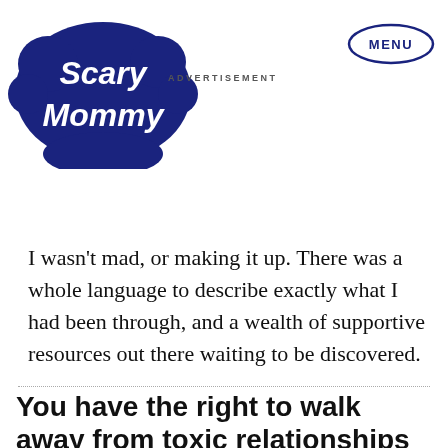[Figure (logo): Scary Mommy logo in dark navy blue with bubble/cloud style lettering]
ADVERTISEMENT
[Figure (other): MENU button with oval border outline in dark navy blue]
I wasn't mad, or making it up. There was a whole language to describe exactly what I had been through, and a wealth of supportive resources out there waiting to be discovered.
You have the right to walk away from toxic relationships